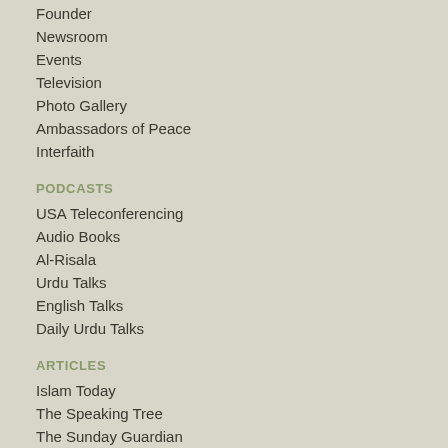Founder
Newsroom
Events
Television
Photo Gallery
Ambassadors of Peace
Interfaith
PODCASTS
USA Teleconferencing
Audio Books
Al-Risala
Urdu Talks
English Talks
Daily Urdu Talks
ARTICLES
Islam Today
The Speaking Tree
The Sunday Guardian
Print Media
Islam and Science
Interfaith